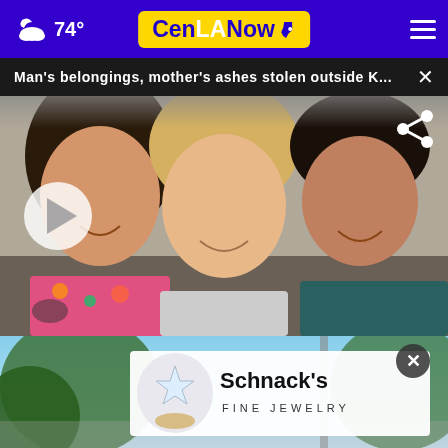CenLANow — 74° weather
Man's belongings, mother's ashes stolen outside K...
[Figure (photo): Three people smiling together in a selfie photo — a young woman on the left with dark hair and floral clothing, an older blonde woman in the center, and a young man on the right wearing a teal shirt. A video play button overlay is shown on the lower left.]
[Figure (photo): Advertisement for Schnack's Fine Jewelry showing a diamond ring on the left and bold black text 'Schnack's Fine Jewelry' on a light background with outdoor scenery visible.]